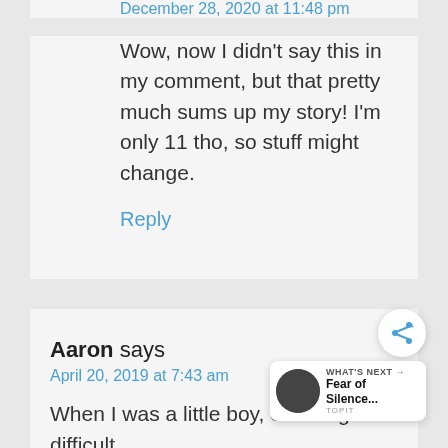December 28, 2020 at 11:48 pm
Wow, now I didn't say this in my comment, but that pretty much sums up my story! I'm only 11 tho, so stuff might change.
Reply
Aaron says
April 20, 2019 at 7:43 am
When I was a little boy, exact age is difficult